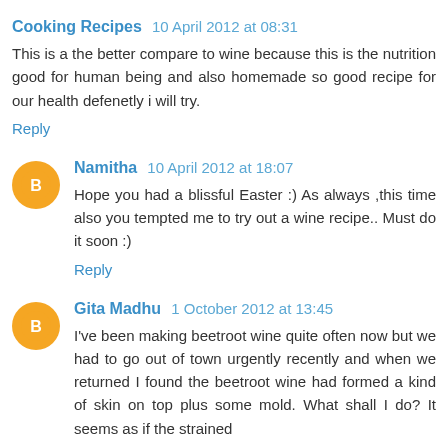Cooking Recipes  10 April 2012 at 08:31
This is a the better compare to wine because this is the nutrition good for human being and also homemade so good recipe for our health defenetly i will try.
Reply
Namitha  10 April 2012 at 18:07
Hope you had a blissful Easter :) As always ,this time also you tempted me to try out a wine recipe.. Must do it soon :)
Reply
Gita Madhu  1 October 2012 at 13:45
I've been making beetroot wine quite often now but we had to go out of town urgently recently and when we returned I found the beetroot wine had formed a kind of skin on top plus some mold. What shall I do? It seems as if the strained